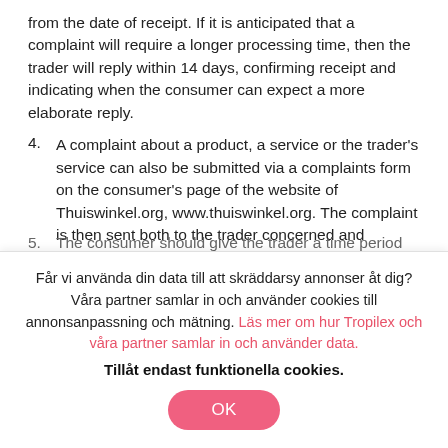from the date of receipt. If it is anticipated that a complaint will require a longer processing time, then the trader will reply within 14 days, confirming receipt and indicating when the consumer can expect a more elaborate reply.
4. A complaint about a product, a service or the trader's service can also be submitted via a complaints form on the consumer's page of the website of Thuiswinkel.org, www.thuiswinkel.org. The complaint is then sent both to the trader concerned and Thuiswinkel.org.
5. The consumer should give the trader a time period...
Får vi använda din data till att skräddarsy annonser åt dig? Våra partner samlar in och använder cookies till annonsanpassning och mätning. Läs mer om hur Tropilex och våra partner samlar in och använder data.
Tillåt endast funktionella cookies.
OK